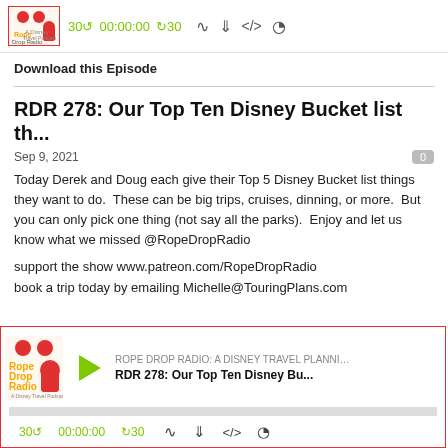[Figure (screenshot): Top podcast player widget for Rope Drop Radio with green playback controls showing 30 back, 00:00:00 timer, forward 30, and icons for RSS, download, embed, and settings]
Download this Episode
RDR 278: Our Top Ten Disney Bucket list th...
Sep 9, 2021
Today Derek and Doug each give their Top 5 Disney Bucket list things they want to do.  These can be big trips, cruises, dinning, or more.  But you can only pick one thing (not say all the parks).  Enjoy and let us know what we missed @RopeDropRadio
support the show www.patreon.com/RopeDropRadio
book a trip today by emailing Michelle@TouringPlans.com
[Figure (screenshot): Bottom podcast player widget for Rope Drop Radio showing logo, play button, episode title RDR 278: Our Top Ten Disney Bu..., progress bar, and playback controls]